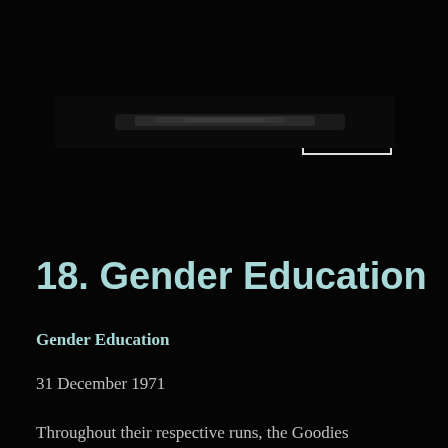MENU
[Figure (photo): A dark, blurred horizontal strip image, likely a banner photo, against a black background]
18. Gender Education
Gender Education
31 December 1971
Throughout their respective runs, the Goodies